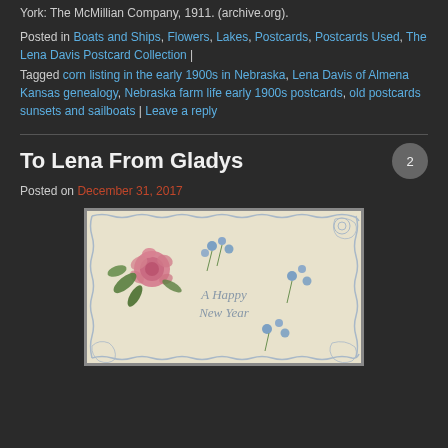York: The McMillian Company, 1911. (archive.org).
Posted in Boats and Ships, Flowers, Lakes, Postcards, Postcards Used, The Lena Davis Postcard Collection |
Tagged corn listing in the early 1900s in Nebraska, Lena Davis of Almena Kansas genealogy, Nebraska farm life early 1900s postcards, old postcards sunsets and sailboats | Leave a reply
To Lena From Gladys
Posted on December 31, 2017
[Figure (photo): A vintage postcard with decorative lace border, featuring a pink rose with green leaves in the upper left, blue forget-me-not flowers scattered around, and the text 'A Happy New Year' written in the center in light blue italic script.]